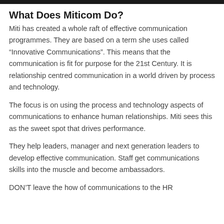What Does Miticom Do?
Miti has created a whole raft of effective communication programmes. They are based on a term she uses called “Innovative Communications”. This means that the communication is fit for purpose for the 21st Century. It is relationship centred communication in a world driven by process and technology.
The focus is on using the process and technology aspects of communications to enhance human relationships. Miti sees this as the sweet spot that drives performance.
They help leaders, manager and next generation leaders to develop effective communication. Staff get communications skills into the muscle and become ambassadors.
DON’T leave the how of communications to the HR